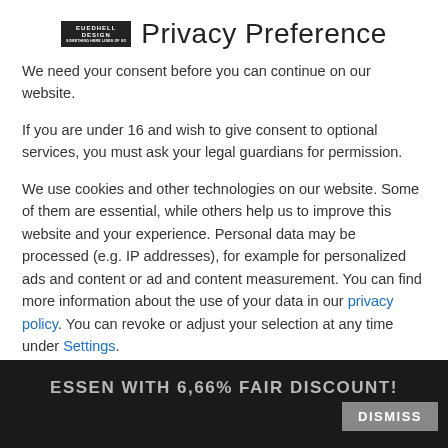Privacy Preference
We need your consent before you can continue on our website.
If you are under 16 and wish to give consent to optional services, you must ask your legal guardians for permission.
We use cookies and other technologies on our website. Some of them are essential, while others help us to improve this website and your experience. Personal data may be processed (e.g. IP addresses), for example for personalized ads and content or ad and content measurement. You can find more information about the use of your data in our privacy policy. You can revoke or adjust your selection at any time under Settings.
Essenziell
Essenzielle Cookies ermöglichen grundlegende Funktionen und sind für die einwandfreie Funktion der
ESSEN WITH 6,66% FAIR DISCOUNT!
DISMISS